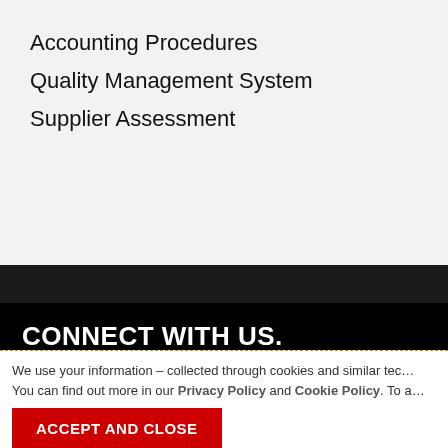Accounting Procedures
Quality Management System
Supplier Assessment
CONNECT WITH US.
[Figure (infographic): Three red square social media buttons: Facebook (f), Twitter (bird icon), Google+1 (+1)]
We use your information – collected through cookies and similar te… You can find out more in our Privacy Policy and Cookie Policy. To a…
ACCEPT AND CLOSE